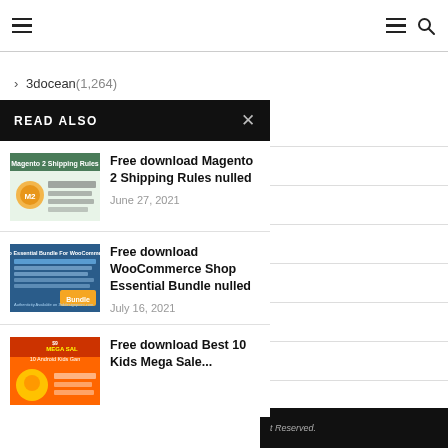Navigation bar with hamburger menu and search icon
> 3docean(1,264)
READ ALSO
[Figure (screenshot): Thumbnail for Magento 2 Shipping Rules article]
Free download Magento 2 Shipping Rules nulled
June 27, 2021
[Figure (screenshot): Thumbnail for WooCommerce Shop Essential Bundle article]
Free download WooCommerce Shop Essential Bundle nulled
July 16, 2021
[Figure (screenshot): Thumbnail for Best 10 Kids Mega Sale article]
Free download Best 10 Kids Mega Sale...
t Reserved.